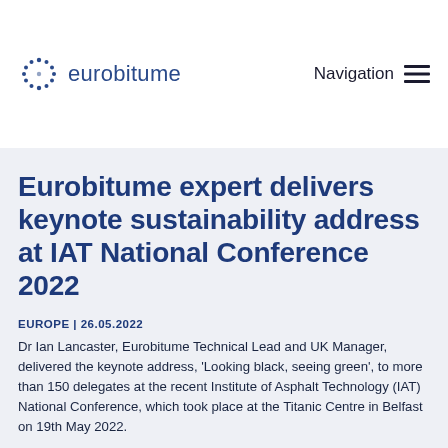eurobitume | Navigation
Eurobitume expert delivers keynote sustainability address at IAT National Conference 2022
EUROPE | 26.05.2022
Dr Ian Lancaster, Eurobitume Technical Lead and UK Manager, delivered the keynote address, ‘Looking black, seeing green’, to more than 150 delegates at the recent Institute of Asphalt Technology (IAT) National Conference, which took place at the Titanic Centre in Belfast on 19th May 2022.